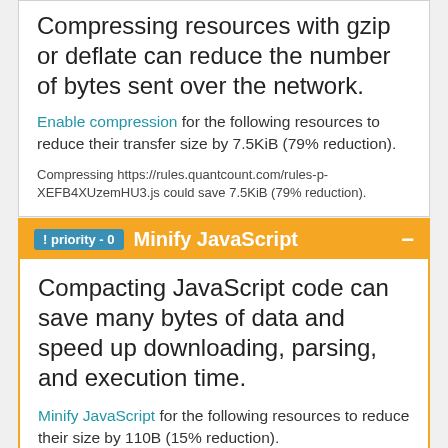Compressing resources with gzip or deflate can reduce the number of bytes sent over the network.
Enable compression for the following resources to reduce their transfer size by 7.5KiB (79% reduction).
Compressing https://rules.quantcount.com/rules-p-XEFB4XUzemHU3.js could save 7.5KiB (79% reduction).
! priority - 0   Minify JavaScript
Compacting JavaScript code can save many bytes of data and speed up downloading, parsing, and execution time.
Minify JavaScript for the following resources to reduce their size by 110B (15% reduction).
Minify...